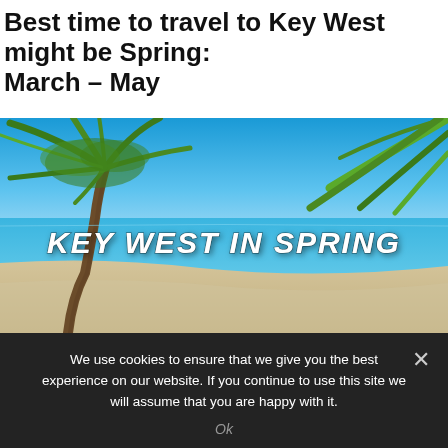Best time to travel to Key West might be Spring:
March – May
[Figure (photo): Tropical beach scene in Key West with palm trees, white sand, and clear blue water. Bold italic white text overlay reads 'KEY WEST IN SPRING'.]
We use cookies to ensure that we give you the best experience on our website. If you continue to use this site we will assume that you are happy with it.